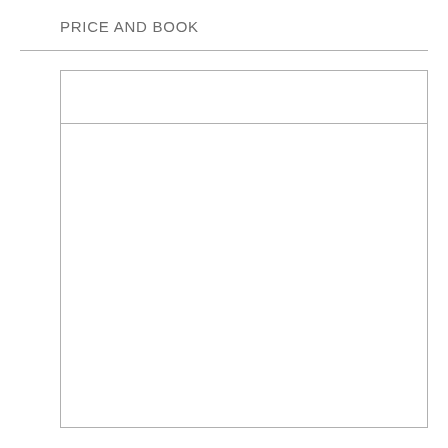PRICE AND BOOK
|  |  |
| --- | --- |
|  |  |